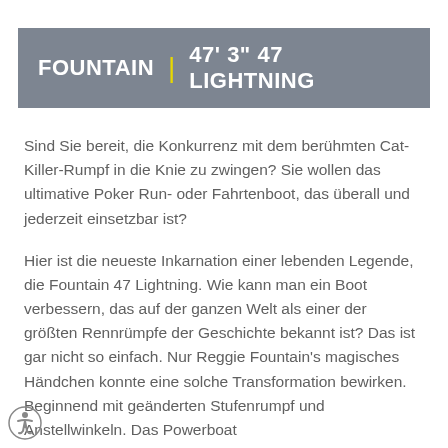FOUNTAIN | 47' 3" 47 LIGHTNING
Sind Sie bereit, die Konkurrenz mit dem berühmten Cat-Killer-Rumpf in die Knie zu zwingen? Sie wollen das ultimative Poker Run- oder Fahrtenboot, das überall und jederzeit einsetzbar ist?
Hier ist die neueste Inkarnation einer lebenden Legende, die Fountain 47 Lightning. Wie kann man ein Boot verbessern, das auf der ganzen Welt als einer der größten Rennrümpfe der Geschichte bekannt ist? Das ist gar nicht so einfach. Nur Reggie Fountain's magisches Händchen konnte eine solche Transformation bewirken. Beginnend mit geänderten Stufenrumpf und Anstellwinkeln. Das Powerboat